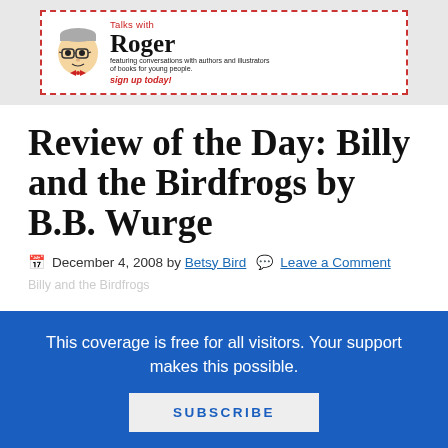[Figure (logo): Talks with Roger banner: cartoon face with glasses and bow tie, text 'Talks with Roger featuring conversations with authors and illustrators of books for young people. sign up today!']
Review of the Day: Billy and the Birdfrogs by B.B. Wurge
December 4, 2008 by Betsy Bird  Leave a Comment
Billy and the Birdfrogs
This coverage is free for all visitors. Your support makes this possible.
SUBSCRIBE